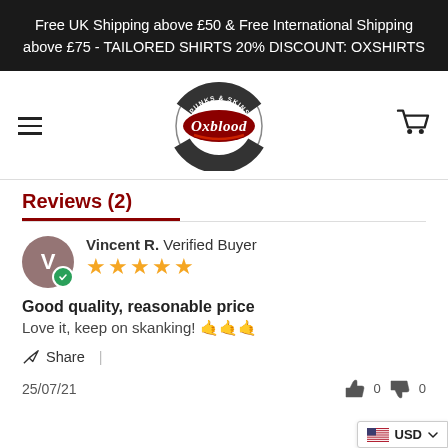Free UK Shipping above £50 & Free International Shipping above £75 - TAILORED SHIRTS 20% DISCOUNT: OXSHIRTS
[Figure (logo): Oxblood Clothing logo — circular badge with 'Punks & Skins' text around top, script 'Oxblood' in red center, 'Clothing' around bottom]
Reviews (2)
Vincent R. Verified Buyer ★★★★★ Good quality, reasonable price Love it, keep on skanking! 🤙🤙🤙 Share | 25/07/21